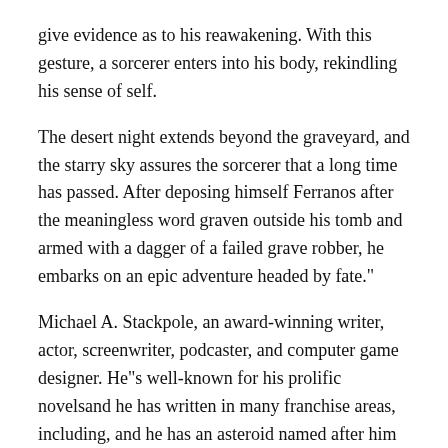give evidence as to his reawakening. With this gesture, a sorcerer enters into his body, rekindling his sense of self.
The desert night extends beyond the graveyard, and the starry sky assures the sorcerer that a long time has passed. After deposing himself Ferranos after the meaningless word graven outside his tomb and armed with a dagger of a failed grave robber, he embarks on an epic adventure headed by fate."
Michael A. Stackpole, an award-winning writer, actor, screenwriter, podcaster, and computer game designer. He"s well-known for his prolific novelsand he has written in many franchise areas, including, and he has an asteroid named after him (165612) out beyond the orbit of Mars. He resides in Arizona and in his spare time enjoys gaming, cooking, and dancing. is the latest in his long-list of tie-in books.
On October 25, 2022, Kadokawa Corporation in Japanese and